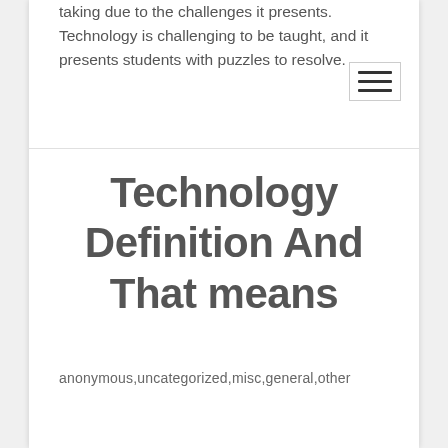taking due to the challenges it presents. Technology is challenging to be taught, and it presents students with puzzles to resolve.
Technology Definition And That means
anonymous,uncategorized,misc,general,other